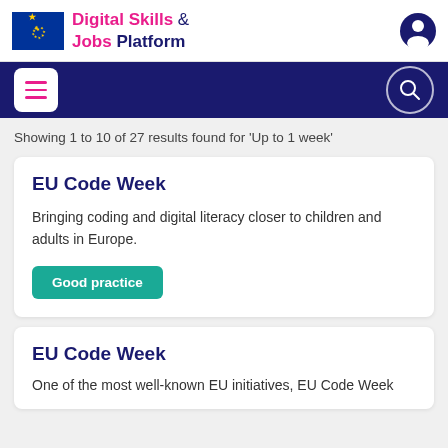Digital Skills & Jobs Platform
Showing 1 to 10 of 27 results found for 'Up to 1 week'
EU Code Week
Bringing coding and digital literacy closer to children and adults in Europe.
Good practice
EU Code Week
One of the most well-known EU initiatives, EU Code Week